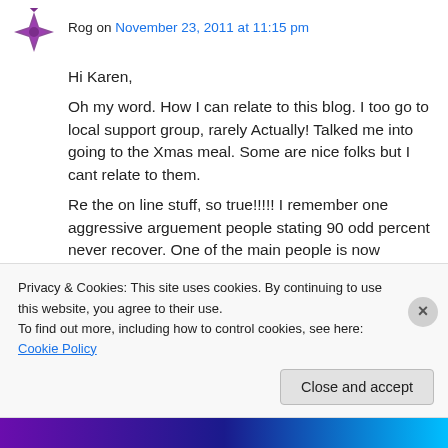Rog on November 23, 2011 at 11:15 pm
Hi Karen,
Oh my word. How I can relate to this blog. I too go to local support group, rarely Actually! Talked me into going to the Xmas meal. Some are nice folks but I cant relate to them.
Re the on line stuff, so true!!!!! I remember one aggressive arguement people stating 90 odd percent never recover. One of the main people is now massively improved.
Privacy & Cookies: This site uses cookies. By continuing to use this website, you agree to their use.
To find out more, including how to control cookies, see here: Cookie Policy
Close and accept